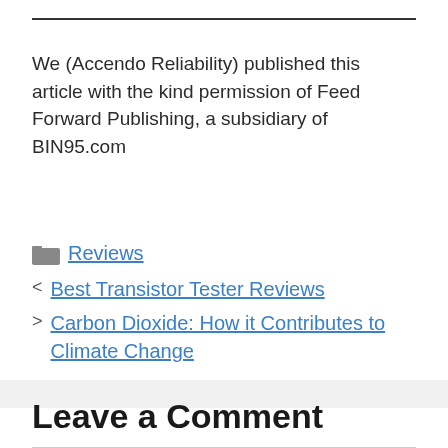We (Accendo Reliability) published this article with the kind permission of Feed Forward Publishing, a subsidiary of BIN95.com
Reviews
Best Transistor Tester Reviews
Carbon Dioxide: How it Contributes to Climate Change
Leave a Comment